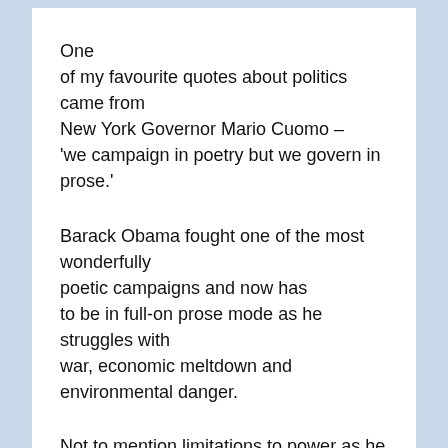One of my favourite quotes about politics came from New York Governor Mario Cuomo – 'we campaign in poetry but we govern in prose.'
Barack Obama fought one of the most wonderfully poetic campaigns and now has to be in full-on prose mode as he struggles with war, economic meltdown and environmental danger.
Not to mention limitations to power as he urges progressive change across America and the world. How does anyone think Obama would vote on the question of civil partnerships?
He would have been there with